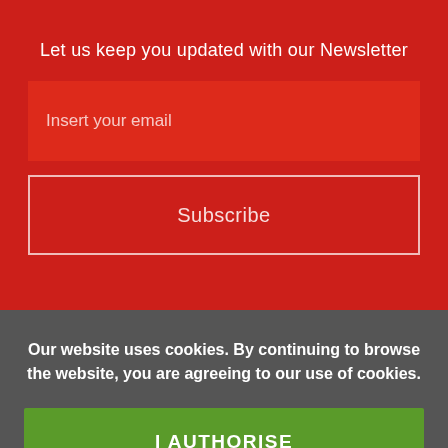Let us keep you updated with our Newsletter
Insert your email
Subscribe
Our website uses cookies. By continuing to browse the website, you are agreeing to our use of cookies.
I AUTHORISE
- Find out more